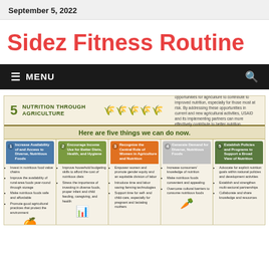September 5, 2022
Sidez Fitness Routine
MENU
[Figure (infographic): Nutrition Through Agriculture infographic showing five things we can do now: 1) Increase Availability of and Access to Diverse, Nutritious Foods 2) Encourage Income Use for Better Diets, Health, and Hygiene 3) Recognize the Central Role of Women in Agriculture and Nutrition 4) Generate Demand for Diverse, Nutritious Foods 5) Establish Policies and Programs to Support a Broad View of Nutrition. Each column has bullet points describing specific actions.]